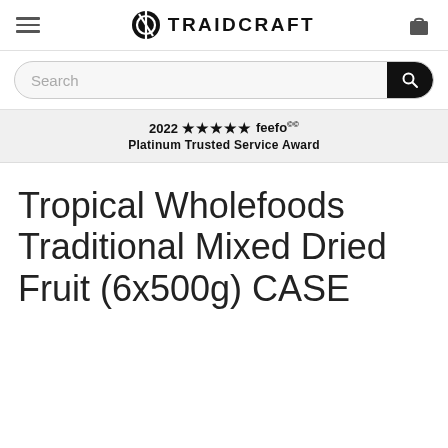TRAIDCRAFT navigation bar with hamburger menu, logo, and bag icon
Search
2022 ★★★★★ feefo℠ Platinum Trusted Service Award
Tropical Wholefoods Traditional Mixed Dried Fruit (6x500g) CASE